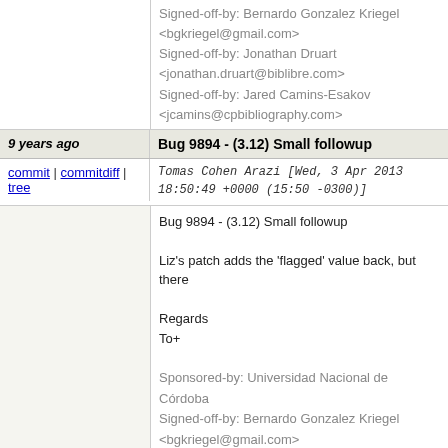Signed-off-by: Bernardo Gonzalez Kriegel <bgkriegel@gmail.com>
Signed-off-by: Jonathan Druart <jonathan.druart@biblibre.com>
Signed-off-by: Jared Camins-Esakov <jcamins@cpbibliography.com>
9 years ago | Bug 9894 - (3.12) Small followup
commit | commitdiff | tree   Tomas Cohen Arazi [Wed, 3 Apr 2013 18:50:49 +0000 (15:50 -0300)]
Bug 9894 - (3.12) Small followup

Liz's patch adds the 'flagged' value back, but there

Regards
To+

Sponsored-by: Universidad Nacional de Córdoba
Signed-off-by: Bernardo Gonzalez Kriegel <bgkriegel@gmail.com>
Signed-off-by: Jonathan Druart <jonathan.druart@biblibre.com>
Signed-off-by: Jared Camins-Esakov <jcamins@cpbibliography.com>
9 years ago "flagged" values | Bug 9894 - Followup: Add support for